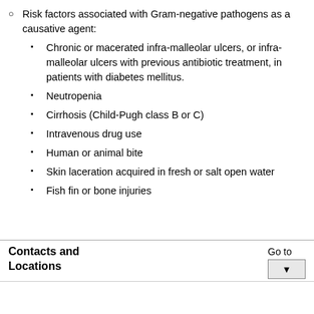Risk factors associated with Gram-negative pathogens as a causative agent:
Chronic or macerated infra-malleolar ulcers, or infra-malleolar ulcers with previous antibiotic treatment, in patients with diabetes mellitus.
Neutropenia
Cirrhosis (Child-Pugh class B or C)
Intravenous drug use
Human or animal bite
Skin laceration acquired in fresh or salt open water
Fish fin or bone injuries
Contacts and Locations
Go to